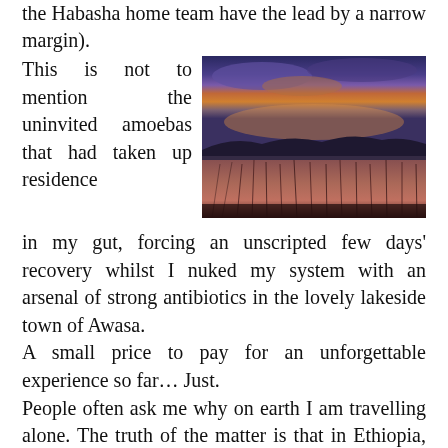the Habasha home team have the lead by a narrow margin).
[Figure (photo): A landscape photograph of a wetland or marsh at sunset/dusk. The sky shows dramatic clouds lit in orange, pink, and purple hues against a deep blue-purple sky. The foreground shows reeds or tall grasses in reddish-brown tones. Dark treeline silhouette visible in the mid-distance.]
This is not to mention the uninvited amoebas that had taken up residence in my gut, forcing an unscripted few days' recovery whilst I nuked my system with an arsenal of strong antibiotics in the lovely lakeside town of Awasa.
A small price to pay for an unforgettable experience so far… Just.
People often ask me why on earth I am travelling alone. The truth of the matter is that in Ethiopia, you never are actually 'alone'. Well, not for long anyway. Kids of all ages sporting brightly coloured Chinese-